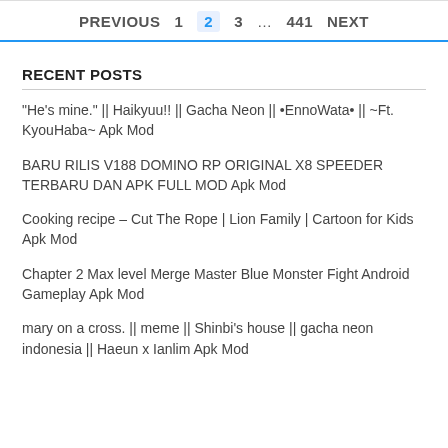PREVIOUS  1  2  3  ...  441  NEXT
RECENT POSTS
"He's mine." || Haikyuu!! || Gacha Neon || •EnnoWata• || ~Ft. KyouHaba~ Apk Mod
BARU RILIS V188 DOMINO RP ORIGINAL X8 SPEEDER TERBARU DAN APK FULL MOD Apk Mod
Cooking recipe – Cut The Rope | Lion Family | Cartoon for Kids Apk Mod
Chapter 2 Max level Merge Master Blue Monster Fight Android Gameplay Apk Mod
mary on a cross. || meme || Shinbi's house || gacha neon indonesia || Haeun x Ianlim Apk Mod